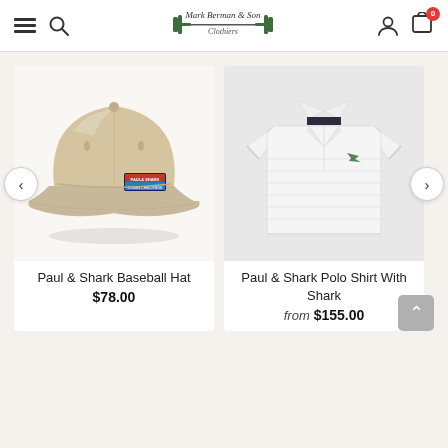Mark Berman & Son Clothiers — navigation header with hamburger menu, search, logo, user icon, and cart (0 items)
[Figure (photo): Paul & Shark Baseball Hat — tan/khaki baseball cap with a Paul & Shark patch logo on the side, displayed on a white/light gray background]
Paul & Shark Baseball Hat
$78.00
[Figure (photo): Paul & Shark Polo Shirt With Shark — white short-sleeve polo shirt with a small shark logo embroidered on the chest, displayed on a light gray background]
Paul & Shark Polo Shirt With Shark
from $155.00